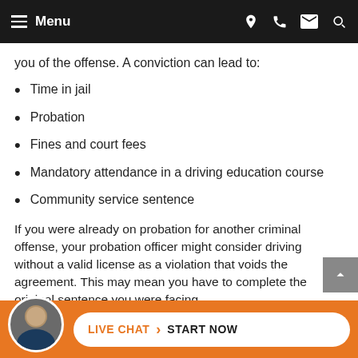Menu
you of the offense. A conviction can lead to:
Time in jail
Probation
Fines and court fees
Mandatory attendance in a driving education course
Community service sentence
If you were already on probation for another criminal offense, your probation officer might consider driving without a valid license as a violation that voids the agreement. This may mean you have to complete the original sentence you were facing.